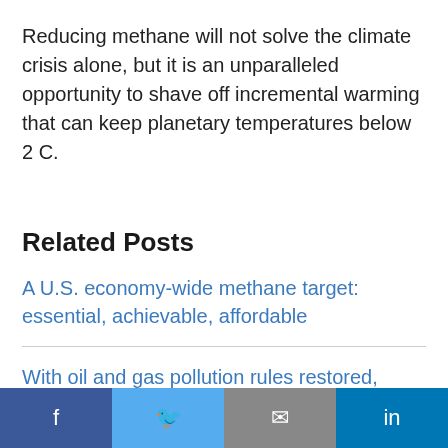Reducing methane will not solve the climate crisis alone, but it is an unparalleled opportunity to shave off incremental warming that can keep planetary temperatures below 2 C.
Related Posts
A U.S. economy-wide methane target: essential, achievable, affordable
With oil and gas pollution rules restored, what's next for EPA's methane?